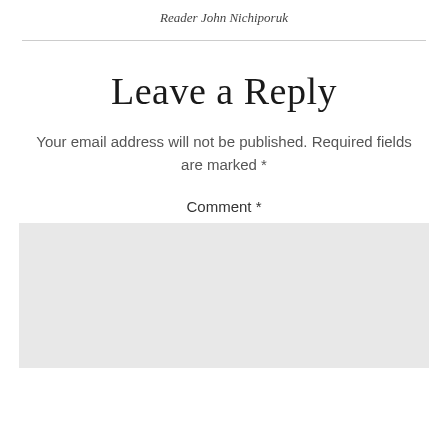Reader John Nichiporuk
Leave a Reply
Your email address will not be published. Required fields are marked *
Comment *